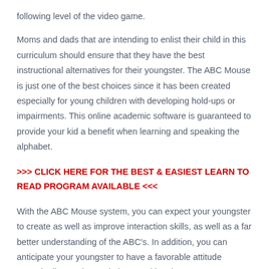following level of the video game.
Moms and dads that are intending to enlist their child in this curriculum should ensure that they have the best instructional alternatives for their youngster. The ABC Mouse is just one of the best choices since it has been created especially for young children with developing hold-ups or impairments. This online academic software is guaranteed to provide your kid a benefit when learning and speaking the alphabet.
>>> CLICK HERE FOR THE BEST & EASIEST LEARN TO READ PROGRAM AVAILABLE <<<
With the ABC Mouse system, you can expect your youngster to create as well as improve interaction skills, as well as a far better understanding of the ABC's. In addition, you can anticipate your youngster to have a favorable attitude towards discovering and also speaking the ABC's. Your youngster will certainly enjoy the games, quizzes and music-filled interactive lessons that feature the